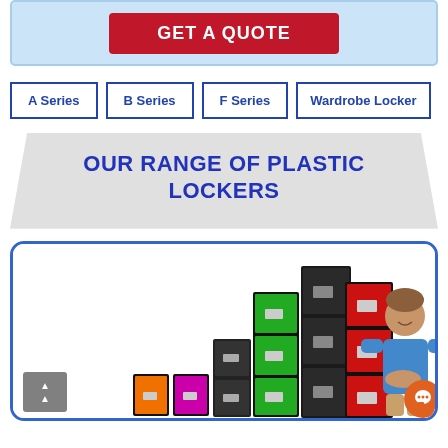[Figure (screenshot): GET A QUOTE button on a light blue banner background]
A Series
B Series
F Series
Wardrobe Locker
OUR RANGE OF PLASTIC LOCKERS
[Figure (photo): Colorful plastic lockers of varying heights in orange, magenta, green, red, and dark grey/black, with a smiling man standing next to them]